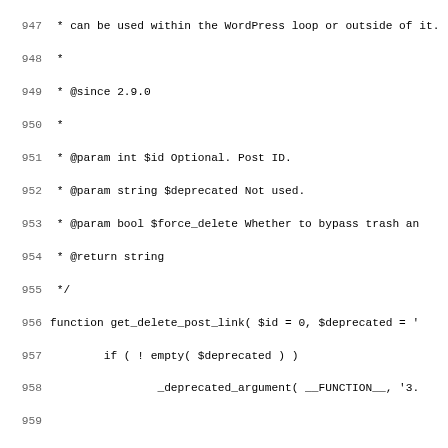[Figure (screenshot): Source code listing showing PHP function get_delete_post_link with line numbers 947-979, including PHPDoc comments and function body with conditionals and return statements.]